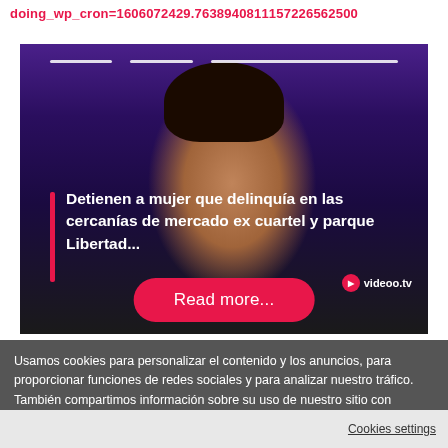doing_wp_cron=1606072429.7638940811157226562500
[Figure (screenshot): Video thumbnail showing a woman's face against a purple background, with white progress bar lines at top, a pink vertical bar on the left side of the overlaid title text, and a 'videoo.tv' logo in the bottom right. A red 'Read more...' pill button is centered at the bottom of the video block.]
Detienen a mujer que delinquía en las cercanías de mercado ex cuartel y parque Libertad...
Usamos cookies para personalizar el contenido y los anuncios, para proporcionar funciones de redes sociales y para analizar nuestro tráfico. También compartimos información sobre su uso de nuestro sitio con nuestros socios de redes sociales, publicidad y análisis. View more
Cookies settings
✓ Aceptar
Cookies settings